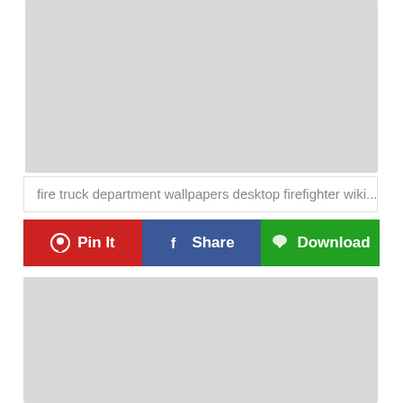[Figure (photo): Top image area showing a placeholder/loading image with light gray background]
fire truck department wallpapers desktop firefighter wiki...
Pin It | Share | Download
[Figure (photo): Bottom image area showing a placeholder/loading image with light gray background]